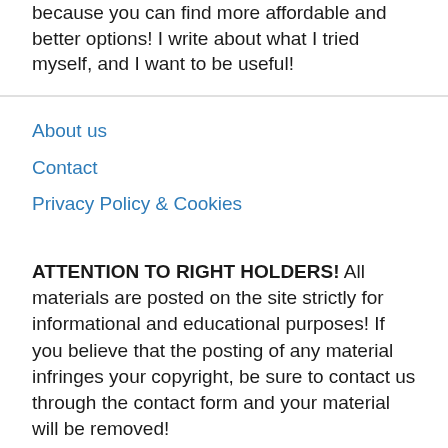because you can find more affordable and better options! I write about what I tried myself, and I want to be useful!
About us
Contact
Privacy Policy & Cookies
ATTENTION TO RIGHT HOLDERS! All materials are posted on the site strictly for informational and educational purposes! If you believe that the posting of any material infringes your copyright, be sure to contact us through the contact form and your material will be removed!